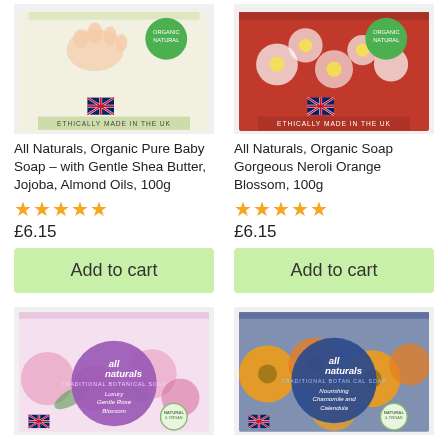[Figure (photo): All Naturals Organic Pure Baby Soap box with baby hand, UK flag, 'Ethically Made in the UK' label, green/cream packaging]
[Figure (photo): All Naturals Organic Soap Gorgeous Neroli Orange Blossom box with orange blossoms, UK flag, 'Ethically Made in the UK' label, red packaging]
All Naturals, Organic Pure Baby Soap – with Gentle Shea Butter, Jojoba, Almond Oils, 100g
All Naturals, Organic Soap Gorgeous Neroli Orange Blossom, 100g
★★★★★
★★★★★
£6.15
£6.15
Add to cart
Add to cart
[Figure (photo): All Naturals Traditional Botanical Soap Luxury Gentle Rose Blossom box with pink roses, purple branding circle, UK flag, Natural & Organic badge]
[Figure (photo): All Naturals Traditional Botanical Soap Nourishing Chamomile and Calendula box with orange flowers, blue branding circle, UK flag, Natural & Organic badge]